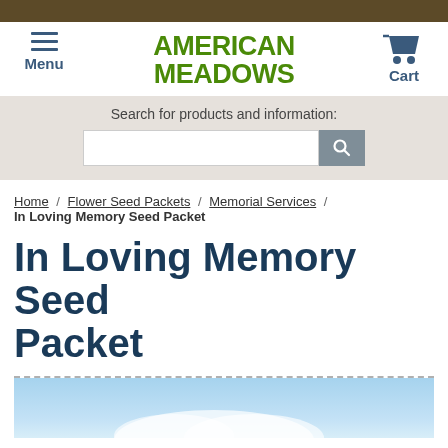[Figure (logo): American Meadows website header with navigation menu, logo, and cart]
Search for products and information:
Home / Flower Seed Packets / Memorial Services / In Loving Memory Seed Packet
In Loving Memory Seed Packet
[Figure (photo): Product photo showing sky/clouds background for In Loving Memory Seed Packet]